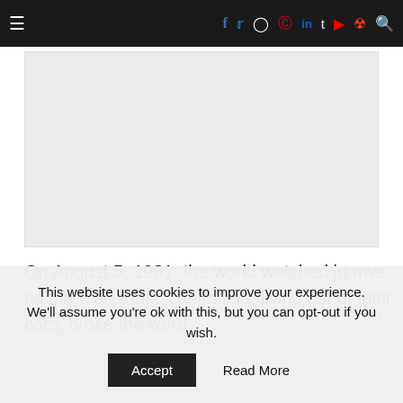≡  f  Twitter  Instagram  Pinterest  in  Tumblr  YouTube  Reddit  🔍
[Figure (photo): Light gray image placeholder rectangle]
On August 5, 1981, the world watched in awe as three air traffic controllers, living out of their cars, broke the word- ld Christmas Extraordinary broke the U.S.
This website uses cookies to improve your experience. We'll assume you're ok with this, but you can opt-out if you wish. Accept  Read More